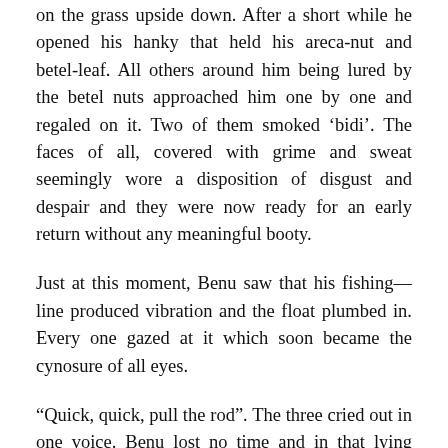on the grass upside down. After a short while he opened his hanky that held his areca-nut and betel-leaf. All others around him being lured by the betel nuts approached him one by one and regaled on it. Two of them smoked ‘bidi’. The faces of all, covered with grime and sweat seemingly wore a disposition of disgust and despair and they were now ready for an early return without any meaningful booty.
Just at this moment, Benu saw that his fishing—line produced vibration and the float plumbed in. Every one gazed at it which soon became the cynosure of all eyes.
“Quick, quick, pull the rod”. The three cried out in one voice. Benu lost no time and in that lying position as he was at that moment, barely scrambled and tumbled down to it and pulled the